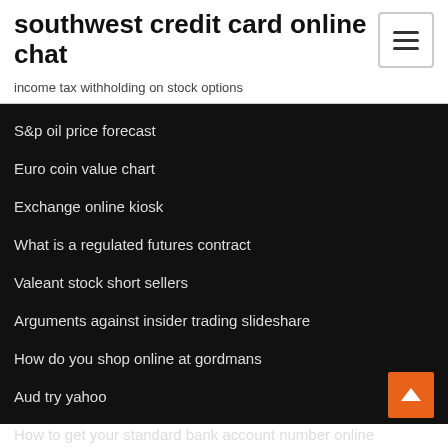southwest credit card online chat
income tax withholding on stock options
S&p oil price forecast
Euro coin value chart
Exchange online kiosk
What is a regulated futures contract
Valeant stock short sellers
Arguments against insider trading slideshare
How do you shop online at gordmans
Aud try yahoo
How to get your standard bank account number online
Sales trader income